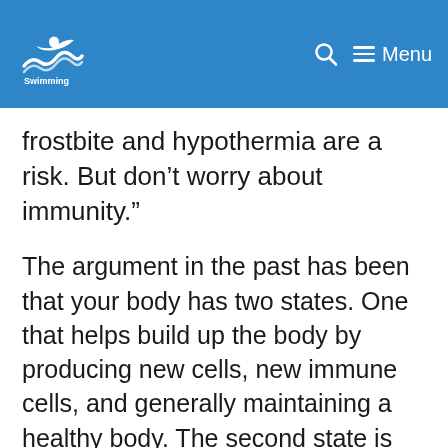Swimming [logo] — Search icon, Menu
frostbite and hypothermia are a risk. But don’t worry about immunity.”
The argument in the past has been that your body has two states. One that helps build up the body by producing new cells, new immune cells, and generally maintaining a healthy body. The second state is the defensive or protection state that focuses on raising body temperature, fighting illnesses and protecting the body